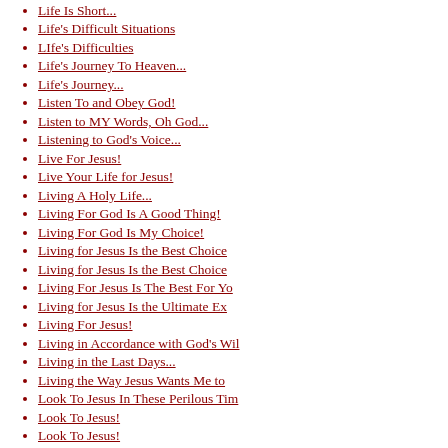Life Is Short...
Life's Difficult Situations
LIfe's Difficulties
Life's Journey To Heaven...
Life's Journey...
Listen To and Obey God!
Listen to MY Words, Oh God...
Listening to God's Voice...
Live For Jesus!
Live Your Life for Jesus!
Living A Holy Life...
Living For God Is A Good Thing!
Living For God Is My Choice!
Living for Jesus Is the Best Choice
Living for Jesus Is the Best Choice
Living For Jesus Is The Best For Yo
Living for Jesus Is the Ultimate Ex
Living For Jesus!
Living in Accordance with God's Wil
Living in the Last Days...
Living the Way Jesus Wants Me to
Look To Jesus In These Perilous Tim
Look To Jesus!
Look To Jesus!
Look to Jesus! Not the Pastor!
Looking For an Online Relationship?
Lord Jesus, I Have Sinned!
Lord Jesus, I Need YOU!
Lord Jesus, I Need Your Love!
Lord Jesus, I Worship Your Name!